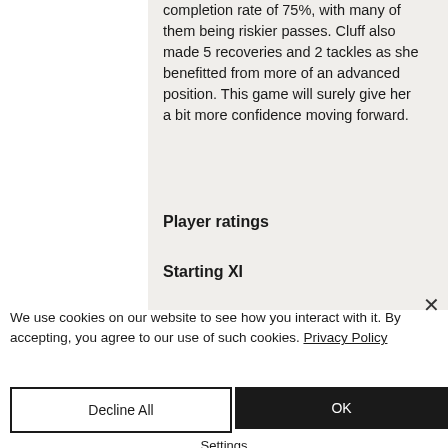completion rate of 75%, with many of them being riskier passes. Cluff also made 5 recoveries and 2 tackles as she benefitted from more of an advanced position. This game will surely give her a bit more confidence moving forward.
Player ratings
Starting XI
We use cookies on our website to see how you interact with it. By accepting, you agree to our use of such cookies. Privacy Policy
Decline All
OK
Settings